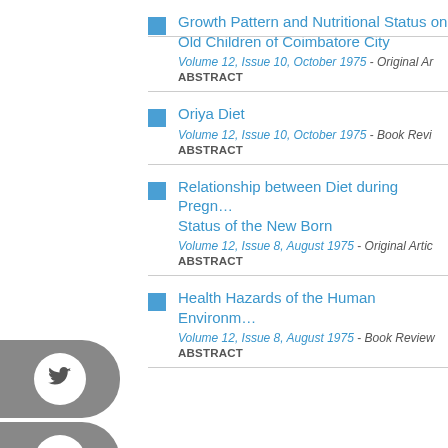Growth Pattern and Nutritional Status of Old Children of Coimbatore City
Volume 12, Issue 10, October 1975 - Original Article
ABSTRACT
Oriya Diet
Volume 12, Issue 10, October 1975 - Book Review
ABSTRACT
Relationship between Diet during Pregnancy and Nutritional Status of the New Born
Volume 12, Issue 8, August 1975 - Original Article
ABSTRACT
Health Hazards of the Human Environment
Volume 12, Issue 8, August 1975 - Book Review
ABSTRACT